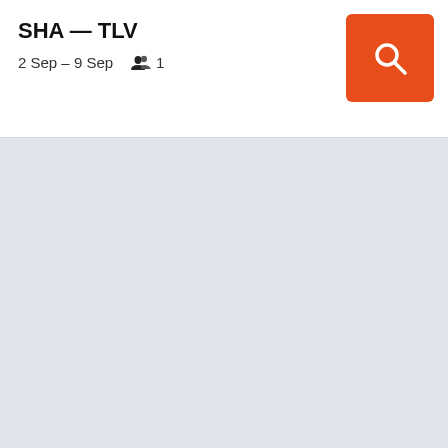SHA — TLV
2 Sep – 9 Sep   👥 1
[Figure (screenshot): Orange search button with white magnifying glass icon]
[Figure (other): Light gray-blue empty content area, no results shown]